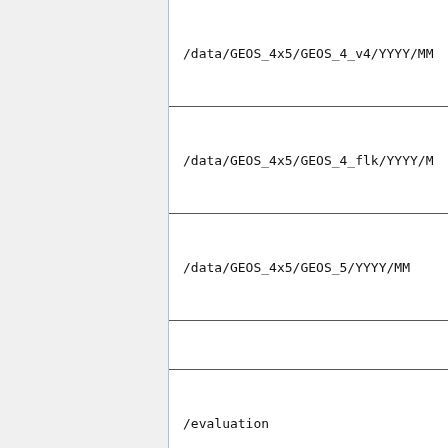| /data/GEOS_4x5/GEOS_4_v4/YYYY/MM |
| /data/GEOS_4x5/GEOS_4_flk/YYYY/M |
| /data/GEOS_4x5/GEOS_5/YYYY/MM |
|  |
| /evaluation |
|  |